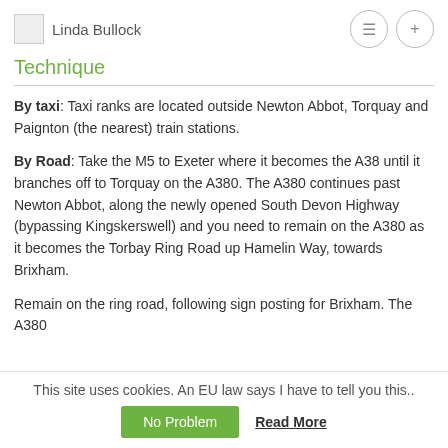Linda Bullock
Technique
By taxi: Taxi ranks are located outside Newton Abbot, Torquay and Paignton (the nearest) train stations.
By Road: Take the M5 to Exeter where it becomes the A38 until it branches off to Torquay on the A380. The A380 continues past Newton Abbot, along the newly opened South Devon Highway (bypassing Kingskerswell) and you need to remain on the A380 as it becomes the Torbay Ring Road up Hamelin Way, towards Brixham.
Remain on the ring road, following sign posting for Brixham. The A380
This site uses cookies. An EU law says I have to tell you this..
No Problem   Read More